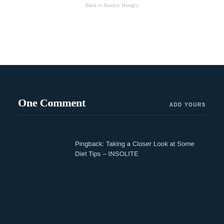Back to Basics: Hungry
One Comment
ADD YOURS
Pingback: Taking a Closer Look at Some Diet Tips – INSOLITE